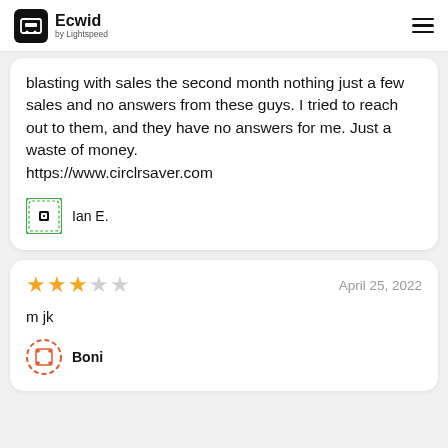Ecwid by Lightspeed
blasting with sales the second month nothing just a few sales and no answers from these guys. I tried to reach out to them, and they have no answers for me. Just a waste of money. https://www.circlrsaver.com
Ian E.
3 out of 5 stars — April 25, 2022
m jk
Boni